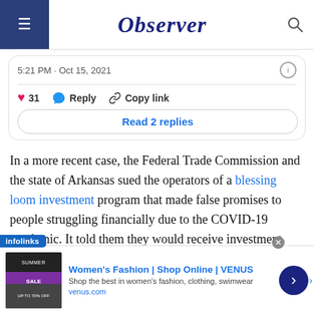Observer
5:21 PM · Oct 15, 2021
♥ 31   Reply   Copy link
Read 2 replies
In a more recent case, the Federal Trade Commission and the state of Arkansas sued the operators of a blessing loom investment program that made false promises to people struggling financially due to the COVID-19 pandemic. It told them they would receive investment returns of up to 800 percent. The scheme was specifically aimed at thousands of African [Americans].
[Figure (screenshot): Advertisement banner for Women's Fashion | Shop Online | VENUS. Shows a sale image with text 'Shop the best in women's fashion, clothing, swimwear' and domain venus.com, with a blue arrow button on the right. Infolinks badge on top left, close button on top right.]